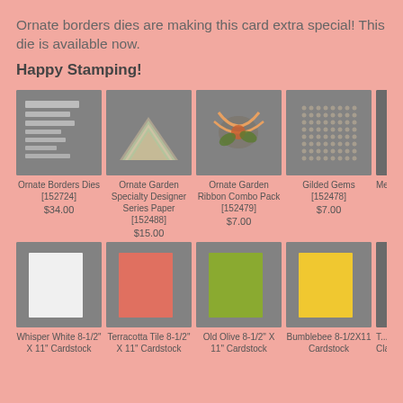Ornate borders dies are making this card extra special! This die is available now.
Happy Stamping!
[Figure (photo): Ornate Borders Dies product photo on gray background]
[Figure (photo): Ornate Garden Specialty Designer Series Paper product photo on gray background]
[Figure (photo): Ornate Garden Ribbon Combo Pack product photo on gray background]
[Figure (photo): Gilded Gems product photo on gray background]
[Figure (photo): Partially visible product photo on gray background]
Ornate Borders Dies [152724]
$34.00
Ornate Garden Specialty Designer Series Paper [152488]
$15.00
Ornate Garden Ribbon Combo Pack [152479]
$7.00
Gilded Gems [152478]
$7.00
Medi...
[Figure (photo): Whisper White cardstock on gray background]
[Figure (photo): Terracotta Tile cardstock on gray background]
[Figure (photo): Old Olive cardstock on gray background]
[Figure (photo): Bumblebee cardstock on gray background]
[Figure (photo): Partially visible cardstock on gray background]
Whisper White 8-1/2" X 11" Cardstock
Terracotta Tile 8-1/2" X 11" Cardstock
Old Olive 8-1/2" X 11" Cardstock
Bumblebee 8-1/2X11 Cardstock
T... Class...